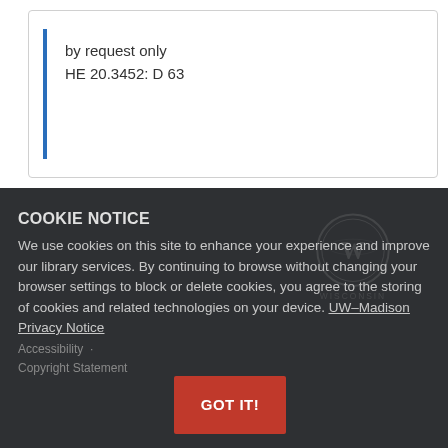by request only
HE 20.3452: D 63
COOKIE NOTICE
We use cookies on this site to enhance your experience and improve our library services. By continuing to browse without changing your browser settings to block or delete cookies, you agree to the storing of cookies and related technologies on your device. UW–Madison Privacy Notice
Accessibility
Copyright Statement
GOT IT!